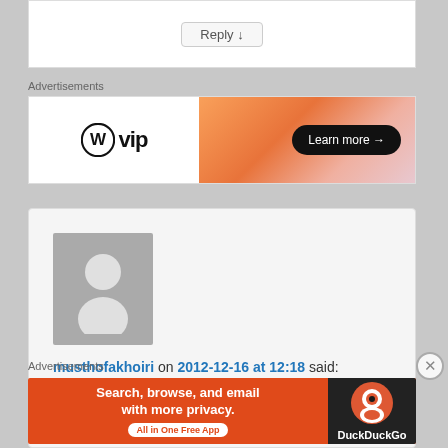Reply ↓
Advertisements
[Figure (screenshot): WordPress VIP advertisement banner with WP logo and 'vip' text on white left side, orange gradient right side with 'Learn more →' button on dark pill]
[Figure (screenshot): Comment card with avatar placeholder and text: musthofakhoiri on 2012-12-16 at 12:18 said: Reblogged this on toffaayeah and commented: amazing]
Advertisements
[Figure (screenshot): DuckDuckGo advertisement: Search, browse, and email with more privacy. All in One Free App. Orange background with DuckDuckGo logo on dark right panel.]